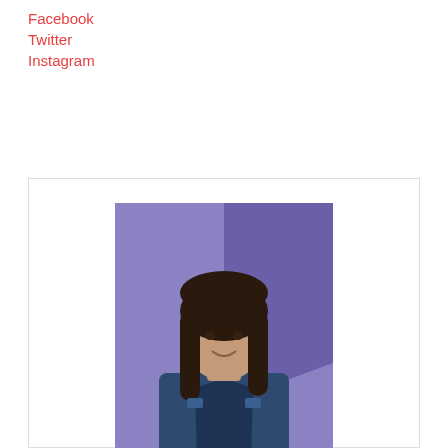Facebook
Twitter
Instagram
[Figure (photo): Profile photo of a young woman with long dark hair wearing a denim jacket, standing in front of a purple/violet background]
Sarah Tomlinson
Hi! I'm Sarah Tomlinson. I'm currently studying journalism at Ryerson University. Music has been my passion since I was a young girl. I took piano lessons for 13 years and sang in musicals and in choirs at my French school in Toronto. At the same time, I started songwriting and ended up composing the music while playing the lead role for my high school's musical in my graduating year. When I'm